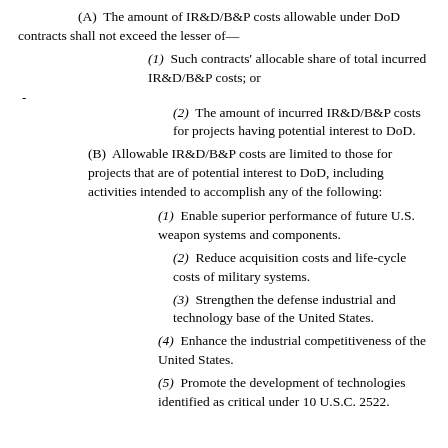(A) The amount of IR&D/B&P costs allowable under DoD contracts shall not exceed the lesser of—
(1) Such contracts' allocable share of total incurred IR&D/B&P costs; or
(2) The amount of incurred IR&D/B&P costs for projects having potential interest to DoD.
(B) Allowable IR&D/B&P costs are limited to those for projects that are of potential interest to DoD, including activities intended to accomplish any of the following:
(1) Enable superior performance of future U.S. weapon systems and components.
(2) Reduce acquisition costs and life-cycle costs of military systems.
(3) Strengthen the defense industrial and technology base of the United States.
(4) Enhance the industrial competitiveness of the United States.
(5) Promote the development of technologies identified as critical under 10 U.S.C. 2522.